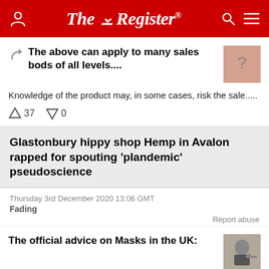The Register®
The above can apply to many sales bods of all levels....
Knowledge of the product may, in some cases, risk the sale.....
↑37  ↓0
Glastonbury hippy shop Hemp in Avalon rapped for spouting 'plandemic' pseudoscience
Thursday 3rd December 2020 13:06 GMT
Fading
Report abuse
The official advice on Masks in the UK:
"The best available scientific evidence is that,